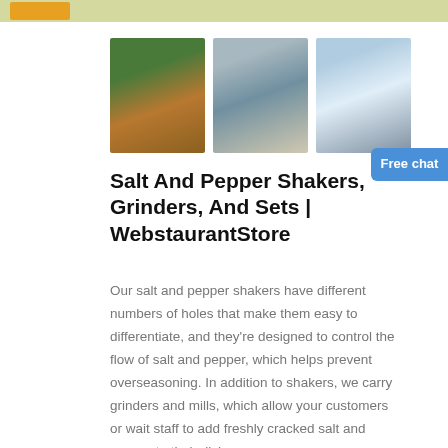[Figure (photo): Three industrial/mining machinery photos arranged in a row: left shows open-pit mining equipment with green hills, center shows conveyor/processing equipment in black and white, right shows industrial silos and blue processing equipment.]
Salt And Pepper Shakers, Grinders, And Sets | WebstaurantStore
Our salt and pepper shakers have different numbers of holes that make them easy to differentiate, and they’re designed to control the flow of salt and pepper, which helps prevent overseasoning. In addition to shakers, we carry grinders and mills, which allow your customers or wait staff to add freshly cracked salt and pepper to their dishes.